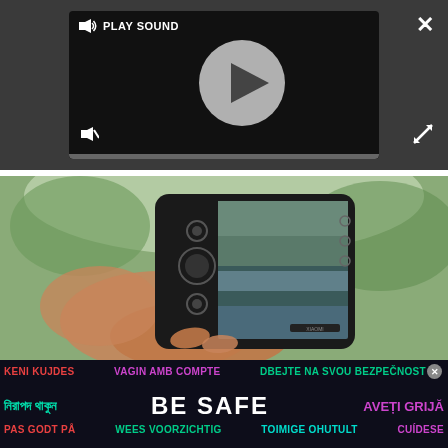[Figure (screenshot): Video player UI with play button, PLAY SOUND label, mute/unmute icons, progress bar, close button, and expand button on dark gray background]
[Figure (photo): A hand holding a smartphone showing the camera app with a landscape view on the screen]
KENI KUJDES  VAGIN AMB COMPTE  DBEJTE NA SVOU BEZPEČNOST  নিরাপদ থাকুন  BE SAFE  AVEȚI GRIJĂ  PAS GODT PÅ  WEES VOORZICHTIG  TOIMIGE OHUTULT  CUÍDESE